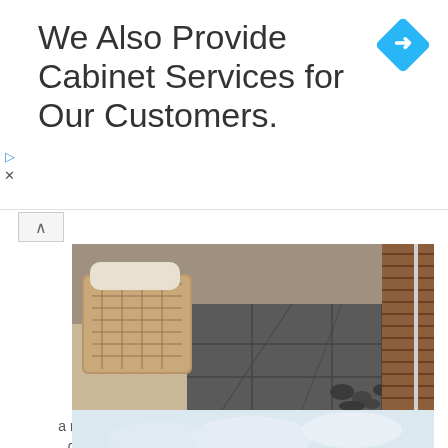We Also Provide Cabinet Services for Our Customers.
[Figure (photo): A modern rooftop terrace with wicker furniture on the left, dark slate/concrete paving tiles, river rocks, and a wooden slatted wall/fence on the right.]
a modern rooftop terrace with wicker furniture, a firepit coffee table and some potted plants here and there
[Figure (photo): Partially visible second image showing a light blue/white cloudy or sky-like background at the bottom of the page.]